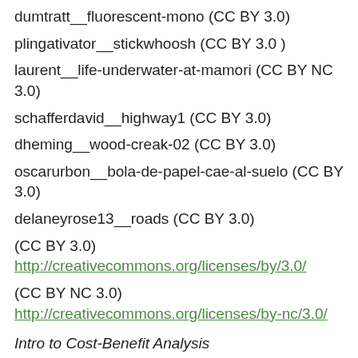dumtratt__fluorescent-mono (CC BY 3.0)
plingativator__stickwhoosh (CC BY 3.0 )
laurent__life-underwater-at-mamori (CC BY NC 3.0)
schafferdavid__highway1 (CC BY 3.0)
dheming__wood-creak-02 (CC BY 3.0)
oscarurbon__bola-de-papel-cae-al-suelo (CC BY 3.0)
delaneyrose13__roads (CC BY 3.0)
(CC BY 3.0) http://creativecommons.org/licenses/by/3.0/
(CC BY NC 3.0) http://creativecommons.org/licenses/by-nc/3.0/
Intro to Cost-Benefit Analysis
mystiscool__rocks2 (CC BY 3.0)
plingativator__stickwhoosh (CC BY 3.0 )
d-w__water-drip-loop-mono (CC BY 3.0 )